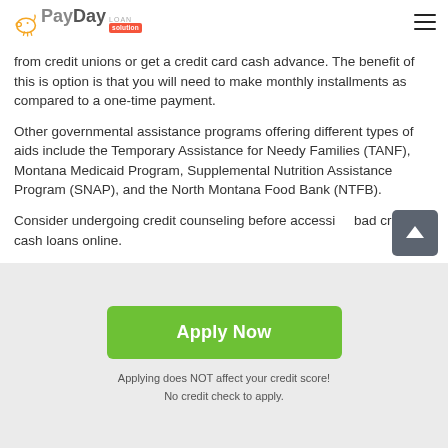PayDay LOAN solution
from credit unions or get a credit card cash advance. The benefit of this is option is that you will need to make monthly installments as compared to a one-time payment.
Other governmental assistance programs offering different types of aids include the Temporary Assistance for Needy Families (TANF), Montana Medicaid Program, Supplemental Nutrition Assistance Program (SNAP), and the North Montana Food Bank (NTFB).
Consider undergoing credit counseling before accessing bad credit cash loans online.
[Figure (other): Green 'Apply Now' button with text below: 'Applying does NOT affect your credit score! No credit check to apply.']